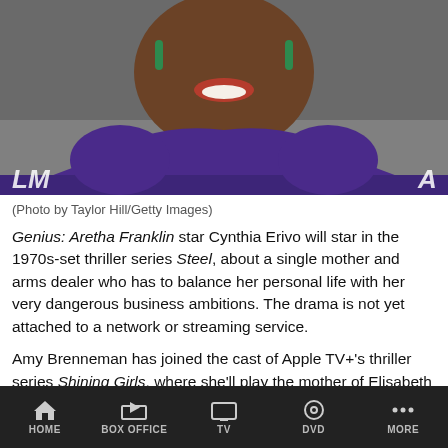[Figure (photo): A woman (Cynthia Erivo) in a purple dress smiling at a red carpet event, wearing green drop earrings. Letters 'LM' and 'A' visible in background.]
(Photo by Taylor Hill/Getty Images)
Genius: Aretha Franklin star Cynthia Erivo will star in the 1970s-set thriller series Steel, about a single mother and arms dealer who has to balance her personal life with her very dangerous business ambitions. The drama is not yet attached to a network or streaming service.
Amy Brenneman has joined the cast of Apple TV+'s thriller series Shining Girls, where she'll play the mother of Elisabeth Moss's Chicago reporter, who survived a vicious assault and then
HOME  BOX OFFICE  TV  DVD  MORE